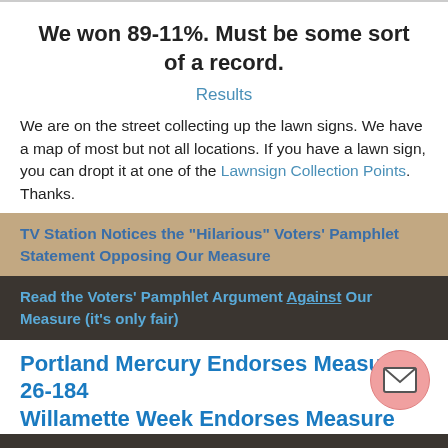We won 89-11%.  Must be some sort of a record.
Results
We are on the street collecting up the lawn signs. We have a map of most but not all locations. If you have a lawn sign, you can dropt it at one of the Lawnsign Collection Points. Thanks.
TV Station Notices the "Hilarious" Voters' Pamphlet Statement Opposing Our Measure
Read the Voters' Pamphlet Argument Against Our Measure (it's only fair)
Portland Mercury Endorses Measure 26-184
Willamette Week Endorses Measure 26-184
The establishment papers (Oregonian and Portland Tribune) say Vote NO on Measure 26-184.  What more do you need to know?
Donald Trump's 30-second case for campaign finance reform